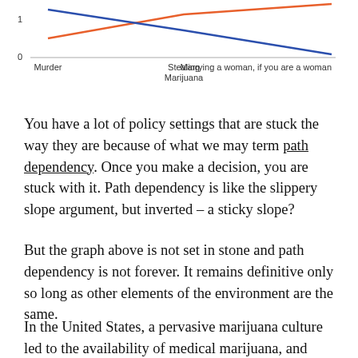[Figure (line-chart): ]
You have a lot of policy settings that are stuck the way they are because of what we may term path dependency. Once you make a decision, you are stuck with it. Path dependency is like the slippery slope argument, but inverted – a sticky slope?
But the graph above is not set in stone and path dependency is not forever. It remains definitive only so long as other elements of the environment are the same.
In the United States, a pervasive marijuana culture led to the availability of medical marijuana, and now two states have made sale of recreational marijuana totally legal. Check out this shop in